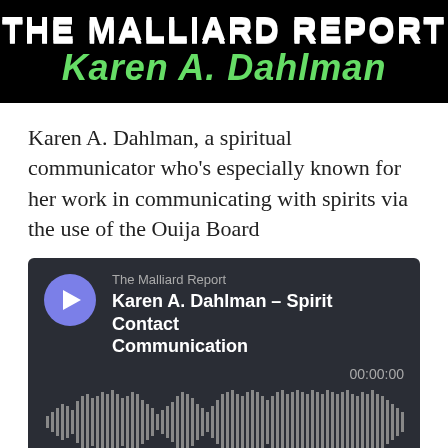[Figure (logo): The Malliard Report banner with white drip-style text on black background and green bold italic text 'Karen A. Dahlman' below]
Karen A. Dahlman, a spiritual communicator who's especially known for her work in communicating with spirits via the use of the Ouija Board
[Figure (screenshot): Podcast audio player widget with dark background showing play button, show title 'The Malliard Report', episode 'Karen A. Dahlman – Spirit Contact Communication', timestamp 00:00:00, audio waveform visualization, and footer links: SHARE, SUBSCRIBE, COOKIE POLICY, DESCRIPTION]